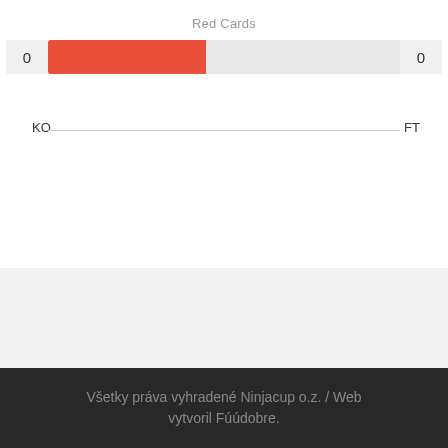Red Cards
[Figure (bar-chart): Red Cards]
KO — FT
Všetky práva vyhradené Ninjacup o.z. / Web vytvoril Fúúdobre.